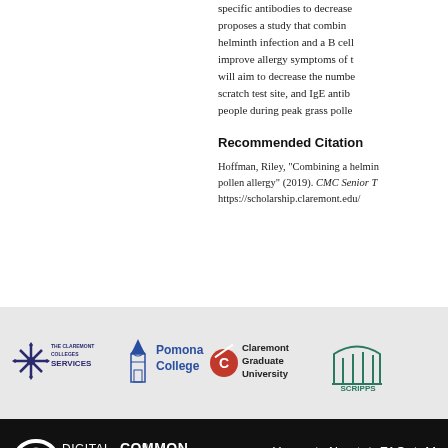specific antibodies to decrease... proposes a study that combines helminth infection and a B cell... improve allergy symptoms of t... will aim to decrease the numbe... scratch test site, and IgE antibo... people during peak grass polle...
Recommended Citation
Hoffman, Riley, "Combining a helmin... pollen allergy" (2019). CMC Senior T... https://scholarship.claremont.edu/...
[Figure (logo): The Claremont Colleges Services logo with snowflake/star emblem and text 'THE CLAREMONT COLLEGES SERVICES']
[Figure (logo): Pomona College logo with bell tower icon and text 'Pomona College']
[Figure (logo): Claremont Graduate University logo with red circle/C icon and text 'Claremont Graduate University']
[Figure (logo): Scripps College logo with arched building icon and text 'SCRIPPS THE WOMEN'S COLLEGE CLAREMONT']
[Figure (logo): Digital Commons powered by bepress logo in white on black background]
Home | About | FAQ | M... Privacy Copyright